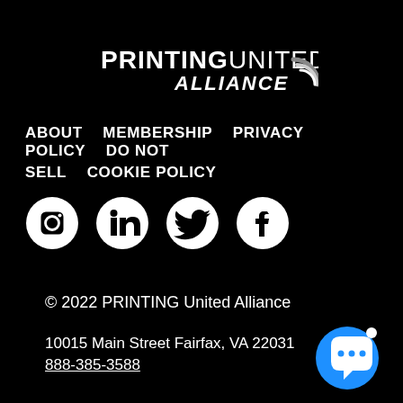[Figure (logo): PRINTING UNITED ALLIANCE logo in white with circular arc graphic on black background]
ABOUT   MEMBERSHIP   PRIVACY POLICY   DO NOT SELL   COOKIE POLICY
[Figure (infographic): Four white social media icons on black background: Instagram, LinkedIn, Twitter, Facebook]
© 2022 PRINTING United Alliance
10015 Main Street Fairfax, VA 22031
888-385-3588
[Figure (illustration): Blue circular chat button with white speech bubble and three dots, with small white notification dot]